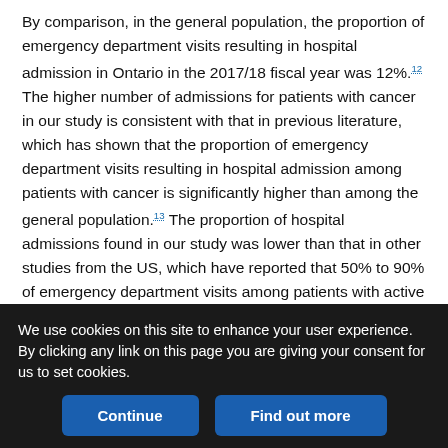By comparison, in the general population, the proportion of emergency department visits resulting in hospital admission in Ontario in the 2017/18 fiscal year was 12%.12 The higher number of admissions for patients with cancer in our study is consistent with that in previous literature, which has shown that the proportion of emergency department visits resulting in hospital admission among patients with cancer is significantly higher than among the general population.13 The proportion of hospital admissions found in our study was lower than that in other studies from the US, which have reported that 50% to 90% of emergency department visits among patients with active cancer result in hospital admission.7,14,15 Two of these US studies examined emergency department visits that were
We use cookies on this site to enhance your user experience. By clicking any link on this page you are giving your consent for us to set cookies.